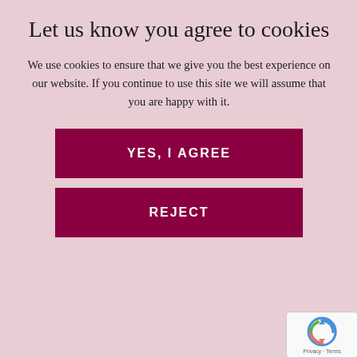Let us know you agree to cookies
We use cookies to ensure that we give you the best experience on our website. If you continue to use this site we will assume that you are happy with it.
YES, I AGREE
REJECT
ACUPUNCTURE
CANCER
CASE STUDY
CHARITY WORK
CLINIC NEWS
CORPORATE HEALTHCARE
COVID-19